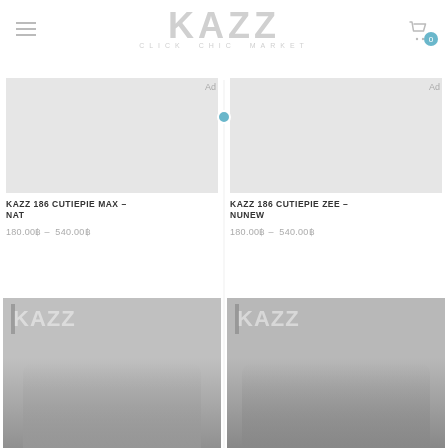[Figure (logo): KAZZ Click Chic Market logo in light gray]
[Figure (photo): KAZZ 186 CutiePie Max-Nat magazine cover, gray product image]
KAZZ 186 CUTIEPIE MAX – NAT
180.00฿ – 540.00฿
[Figure (photo): KAZZ 186 CutiePie Zee-Nunew magazine cover, gray product image]
KAZZ 186 CUTIEPIE ZEE – NUNEW
180.00฿ – 540.00฿
[Figure (photo): KAZZ magazine cover with two male figures, gray tones]
[Figure (photo): KAZZ magazine cover with two male figures, gray tones]